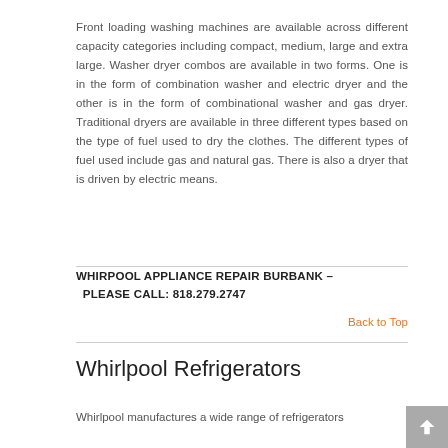Front loading washing machines are available across different capacity categories including compact, medium, large and extra large. Washer dryer combos are available in two forms. One is in the form of combination washer and electric dryer and the other is in the form of combinational washer and gas dryer. Traditional dryers are available in three different types based on the type of fuel used to dry the clothes. The different types of fuel used include gas and natural gas. There is also a dryer that is driven by electric means.
WHIRPOOL APPLIANCE REPAIR BURBANK – PLEASE CALL: 818.279.2747
Back to Top
Whirlpool Refrigerators
Whirlpool manufactures a wide range of refrigerators